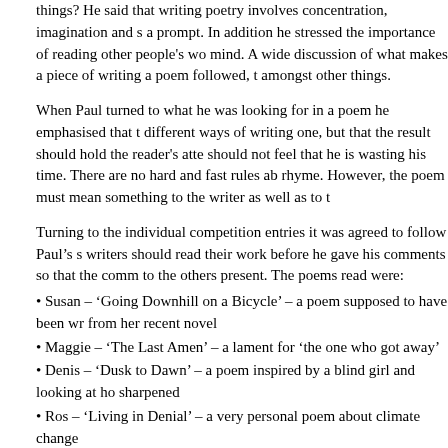things? He said that writing poetry involves concentration, imagination and s a prompt. In addition he stressed the importance of reading other people's wo mind. A wide discussion of what makes a piece of writing a poem followed, t amongst other things.
When Paul turned to what he was looking for in a poem he emphasised that t different ways of writing one, but that the result should hold the reader's atte should not feel that he is wasting his time. There are no hard and fast rules ab rhyme. However, the poem must mean something to the writer as well as to t
Turning to the individual competition entries it was agreed to follow Paul's s writers should read their work before he gave his comments so that the comm to the others present. The poems read were:
Susan – 'Going Downhill on a Bicycle' – a poem supposed to have been wr from her recent novel
Maggie – 'The Last Amen' – a lament for 'the one who got away'
Denis – 'Dusk to Dawn' – a poem inspired by a blind girl and looking at ho sharpened
Ros – 'Living in Denial' – a very personal poem about climate change
Sheila – 'The Enchantment of Birdsong' – a poem inspired by hearing a so walking
Carol – 'Not April but February Mr T S Eliot' – a poem disputing the openi Wasteland
Peter – 'The Naming of Books' – a parody of 'The Naming of Cats' from 'O